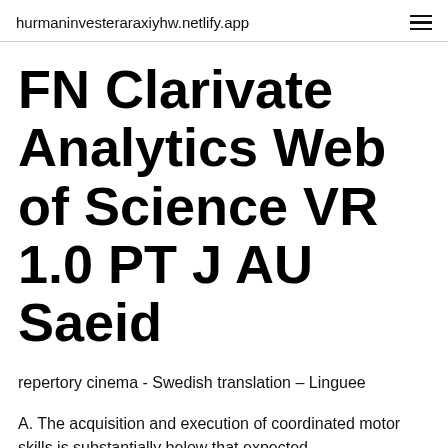hurmaninvesteraraxiyhw.netlify.app
FN Clarivate Analytics Web of Science VR 1.0 PT J AU Saeid
repertory cinema - Swedish translation – Linguee
A. The acquisition and execution of coordinated motor skills is substantially below that expected